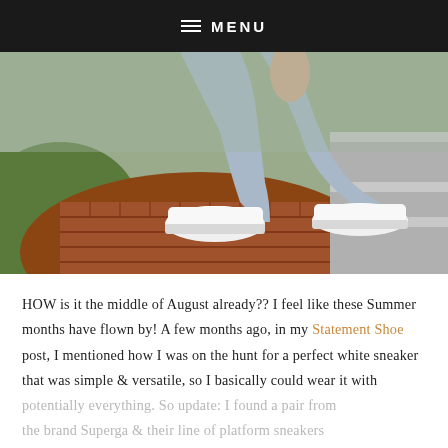≡ MENU
[Figure (photo): Person sitting on concrete steps wearing light blue jeans and white platform sneakers, with red brick circular paving in the foreground and green grass to the left.]
HOW is it the middle of August already?? I feel like these Summer months have flown by! A few months ago, in my Statement Shoe post, I mentioned how I was on the hunt for a perfect white sneaker that was simple & versatile, so I basically could wear it with potentially everything. So update: I found a pair from the brand Superga & their line of platform sneakers...